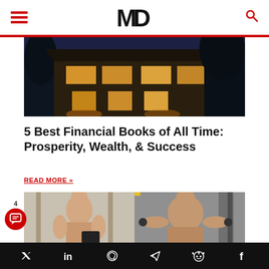MD (logo with hamburger menu and search icon)
[Figure (photo): Luxury house at night with warm lighting, palm trees, and a two-story structure with large windows]
5 Best Financial Books of All Time: Prosperity, Wealth, & Success
READ MORE »
[Figure (photo): Two fitness/bodybuilding photos side by side: a muscular shirtless man on left, and a muscular man from behind doing cable exercise on right]
Social share icons: Twitter, LinkedIn, WhatsApp, Telegram, Reddit, Facebook